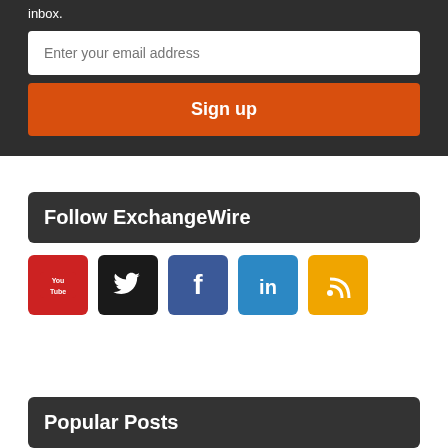inbox.
[Figure (screenshot): Email input field with placeholder text 'Enter your email address']
[Figure (screenshot): Orange 'Sign up' button]
Follow ExchangeWire
[Figure (infographic): Social media icons: YouTube (red), Twitter (black), Facebook (blue), LinkedIn (blue), RSS (orange/yellow)]
Popular Posts